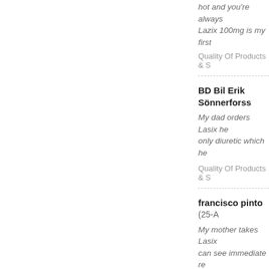hot and you're always Lazix 100mg is my first
Quality Of Products & S
BD Bil Erik Sönnerforss
My dad orders Lasix he only diuretic which he
Quality Of Products & S
francisco pinto (25-A
My mother takes Lasix can see immediate re
Quality Of Products & S
Florian Zurlinden (25
When I had serious pro seemed that it was th medicine before us